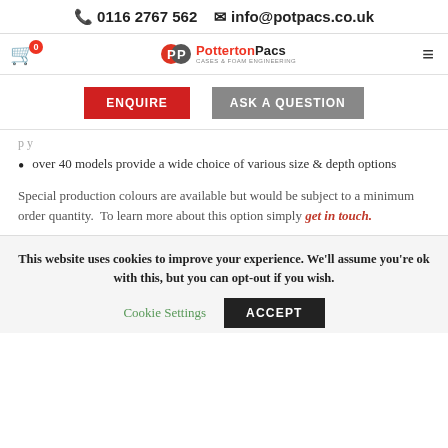📞 0116 2767 562  ✉ info@potpacs.co.uk
[Figure (logo): Potterton Pacs logo with cart icon (badge 0) and hamburger menu]
[Figure (other): ENQUIRE and ASK A QUESTION buttons]
over 40 models provide a wide choice of various size & depth options
Special production colours are available but would be subject to a minimum order quantity.  To learn more about this option simply get in touch.
This website uses cookies to improve your experience. We'll assume you're ok with this, but you can opt-out if you wish.
Cookie Settings  ACCEPT